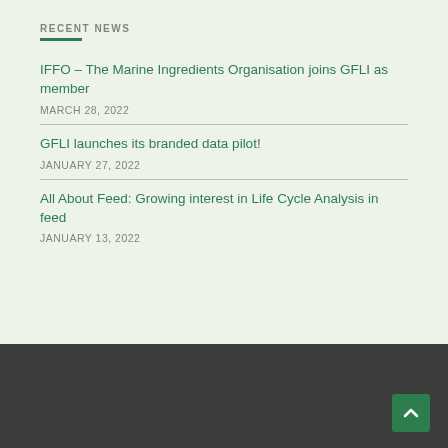RECENT NEWS
IFFO – The Marine Ingredients Organisation joins GFLI as member
MARCH 28, 2022
GFLI launches its branded data pilot!
JANUARY 27, 2022
All About Feed: Growing interest in Life Cycle Analysis in feed
JANUARY 13, 2022